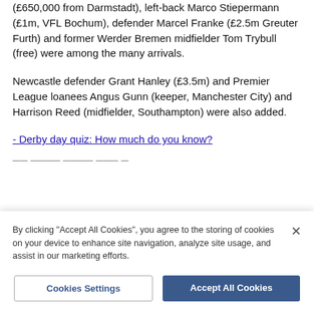(£650,000 from Darmstadt), left-back Marco Stiepermann (£1m, VFL Bochum), defender Marcel Franke (£2.5m Greuter Furth) and former Werder Bremen midfielder Tom Trybull (free) were among the many arrivals.
Newcastle defender Grant Hanley (£3.5m) and Premier League loanees Angus Gunn (keeper, Manchester City) and Harrison Reed (midfielder, Southampton) were also added.
- Derby day quiz: How much do you know?
By clicking "Accept All Cookies", you agree to the storing of cookies on your device to enhance site navigation, analyze site usage, and assist in our marketing efforts.